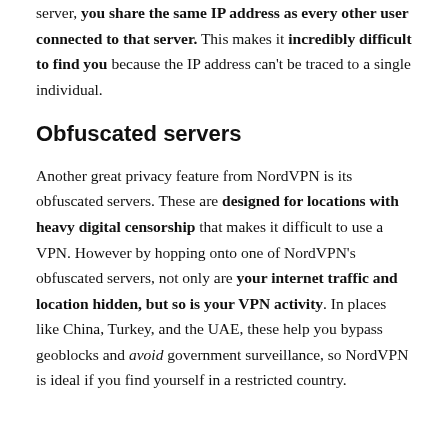server, you share the same IP address as every other user connected to that server. This makes it incredibly difficult to find you because the IP address can't be traced to a single individual.
Obfuscated servers
Another great privacy feature from NordVPN is its obfuscated servers. These are designed for locations with heavy digital censorship that makes it difficult to use a VPN. However by hopping onto one of NordVPN's obfuscated servers, not only are your internet traffic and location hidden, but so is your VPN activity. In places like China, Turkey, and the UAE, these help you bypass geoblocks and avoid government surveillance, so NordVPN is ideal if you find yourself in a restricted country.